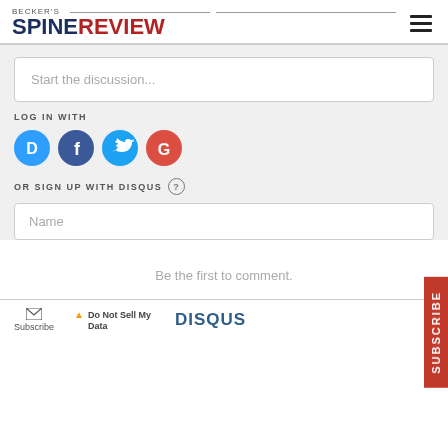BECKER'S SPINE REVIEW
Start the discussion...
LOG IN WITH
[Figure (other): Social login icons: Disqus (blue circle with D), Facebook (dark blue circle with f), Twitter (light blue circle with bird), Google (red circle with G)]
OR SIGN UP WITH DISQUS ?
Name
Be the first to comment.
Subscribe   Do Not Sell My Data   DISQUS